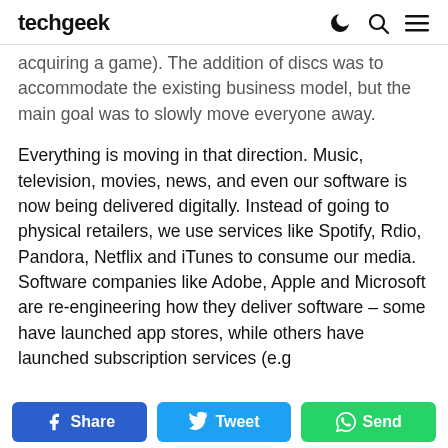techgeek
acquiring a game). The addition of discs was to accommodate the existing business model, but the main goal was to slowly move everyone away.
Everything is moving in that direction. Music, television, movies, news, and even our software is now being delivered digitally. Instead of going to physical retailers, we use services like Spotify, Rdio, Pandora, Netflix and iTunes to consume our media. Software companies like Adobe, Apple and Microsoft are re-engineering how they deliver software – some have launched app stores, while others have launched subscription services (e.g
Share  Tweet  Send